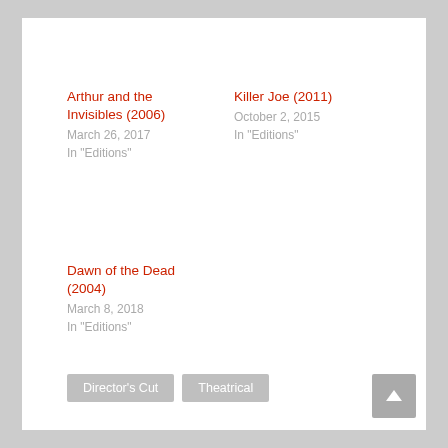Arthur and the Invisibles (2006)
March 26, 2017
In "Editions"
Killer Joe (2011)
October 2, 2015
In "Editions"
Dawn of the Dead (2004)
March 8, 2018
In "Editions"
Director's Cut   Theatrical